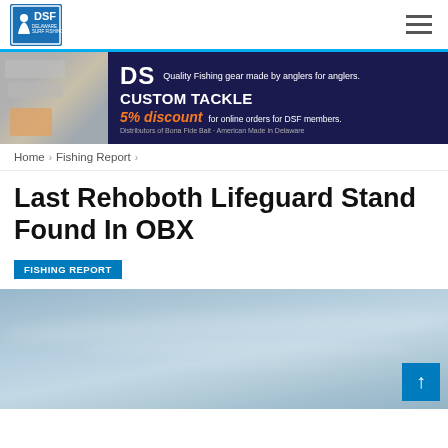DSF Delaware Surf Fishing — site header with logo and hamburger menu
[Figure (photo): DS Custom Tackle banner advertisement on dark navy background. Left side shows product packaging photos. Right side shows 'DS CUSTOM TACKLE' text with '5% discount for online orders for DSF members.' tagline and 'Distributors of Bona Fide Bait · American Made in Delaware']
Home › Fishing Report ›
Last Rehoboth Lifeguard Stand Found In OBX
FISHING REPORT
[Figure (photo): Outdoor sky photo with blue-grey hazy sky and wispy clouds. Appears to be a coastal/beach scene photographed from a low angle looking upward.]